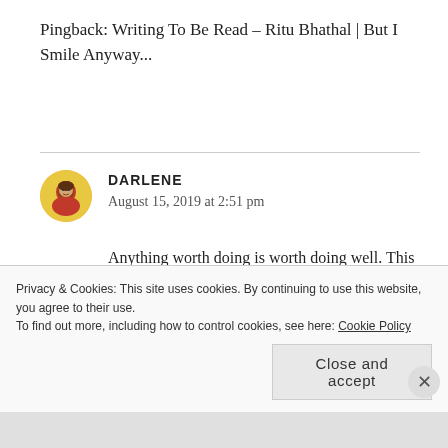Pingback: Writing To Be Read – Ritu Bhathal | But I Smile Anyway...
DARLENE
August 15, 2019 at 2:51 pm

Anything worth doing is worth doing well. This is what my dad always said. You will be happy that you spent a good amount of time working on your book. We should all write to be read. I am reading a book right now that is
Privacy & Cookies: This site uses cookies. By continuing to use this website, you agree to their use.
To find out more, including how to control cookies, see here: Cookie Policy
Close and accept